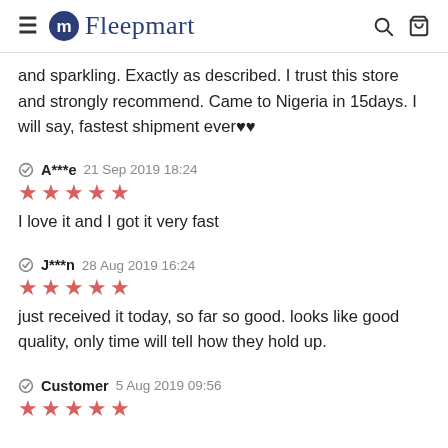Fleepmart
and sparkling. Exactly as described. I trust this store and strongly recommend. Came to Nigeria in 15days. I will say, fastest shipment ever♥♥
A***e 21 Sep 2019 18:24 ★★★★★ I love it and I got it very fast
J***n 28 Aug 2019 16:24 ★★★★★ just received it today, so far so good. looks like good quality, only time will tell how they hold up.
Customer 5 Aug 2019 09:56